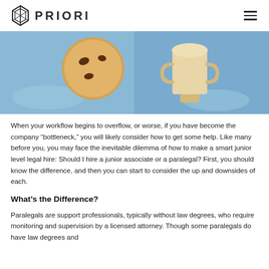PRIORI
[Figure (illustration): Illustration on a blue background showing a cookie on the left and what appears to be an ice cream cone or trophy shape on the right, representing a comparison theme.]
When your workflow begins to overflow, or worse, if you have become the company “bottleneck,” you will likely consider how to get some help. Like many before you, you may face the inevitable dilemma of how to make a smart junior level legal hire: Should I hire a junior associate or a paralegal? First, you should know the difference, and then you can start to consider the up and downsides of each.
What’s the Difference?
Paralegals are support professionals, typically without law degrees, who require monitoring and supervision by a licensed attorney. Though some paralegals do have law degrees and